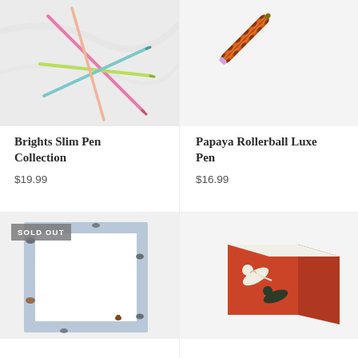[Figure (photo): Colorful slim pens (pink, green, blue, peach) arranged on a white marble surface]
Brights Slim Pen Collection
$19.99
[Figure (photo): Papaya rollerball luxe pen with orange and black decorative pattern on white background]
Papaya Rollerball Luxe Pen
$16.99
[Figure (photo): Square notepad with cat-patterned border on light blue background, white writing area, with a small cat figurine. Has a SOLD OUT badge.]
[Figure (photo): Memo cube with red/orange background featuring black and white leaping big cat (tiger/leopard) print pattern]